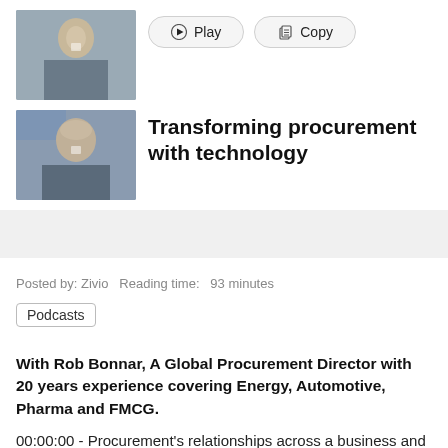[Figure (photo): Thumbnail photo of a man in a gray shirt sitting in front of a chair, facial recognition marker on nose]
[Figure (photo): Thumbnail photo of a bald man in front of a light background, facial recognition marker on nose]
Transforming procurement with technology
Posted by: Zivio  Reading time:  93 minutes
Podcasts
With Rob Bonnar, A Global Procurement Director with 20 years experience covering Energy, Automotive, Pharma and FMCG.
00:00:00 - Procurement's relationships across a business and